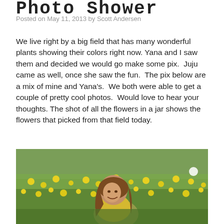Photo Shower
Posted on May 11, 2013 by Scott Andersen
We live right by a big field that has many wonderful plants showing their colors right now. Yana and I saw them and decided we would go make some pix.  Juju came as well, once she saw the fun.  The pix below are a mix of mine and Yana's.  We both were able to get a couple of pretty cool photos.  Would love to hear your thoughts. The shot of all the flowers in a jar shows the flowers that picked from that field today.
[Figure (photo): A young girl with long brown hair wearing a yellow shirt, smiling in a field full of yellow dandelion flowers with green grass.]